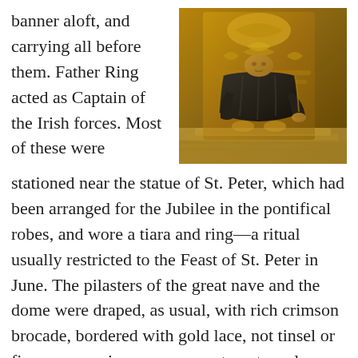banner aloft, and carrying all before them. Father Ring acted as Captain of the Irish forces. Most of these were
[Figure (photo): A golden/bronze statue of a seated figure (St. Peter) on an ornate throne with carved decorative backrest, wearing dark robes, photographed in warm amber tones inside a basilica.]
stationed near the statue of St. Peter, which had been arranged for the Jubilee in the pontifical robes, and wore a tiara and ring—a ritual usually restricted to the Feast of St. Peter in June. The pilasters of the great nave and the dome were draped, as usual, with rich crimson brocade, bordered with gold lace, not tinsel or fine copper wire, as some contemptuously suppose, but real gold-woven work. By seven o'clock the tribunes in the apse were filled with various ladies and gentlemen, together with many religious, priests, and sisters—the English Nuns, founded by Lady Georgiana Fullerton (the